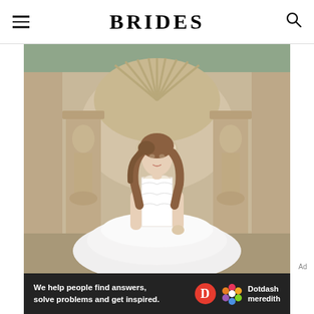BRIDES
[Figure (photo): A model wearing a white ball gown wedding dress with a lace corset bodice and full tulle skirt, posing in front of an ornate stone architectural backdrop with caryatid columns and a shell-shaped niche, surrounded by lush greenery.]
Ad
[Figure (infographic): Dotdash Meredith advertisement banner with dark background. Text reads: 'We help people find answers, solve problems and get inspired.' with the Dotdash Meredith logo on the right showing a red D circle and colorful flower-like icon.]